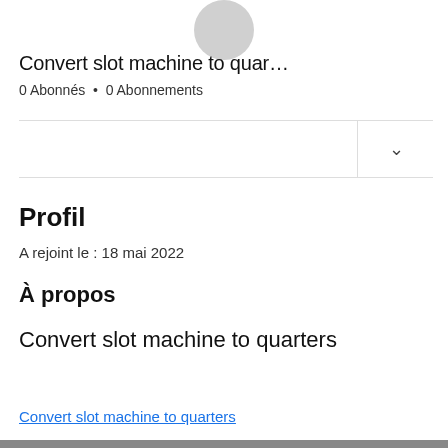[Figure (illustration): Gray circular avatar placeholder at top center]
Convert slot machine to quar…
0 Abonnés • 0 Abonnements
Profil
A rejoint le : 18 mai 2022
À propos
Convert slot machine to quarters
Convert slot machine to quarters